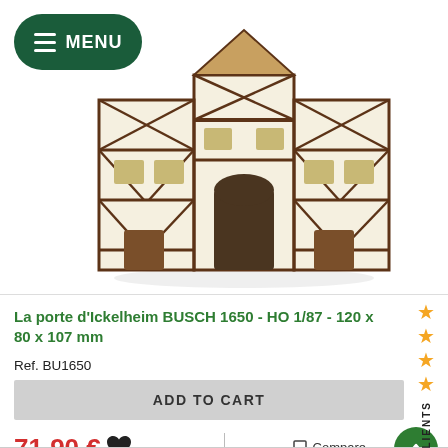[Figure (photo): A half-timbered building model (La porte d'Ickelheim) shown against a white background. The model shows a German-style gate building with brown timber framing and cream/white infill panels, with a central archway.]
La porte d'Ickelheim BUSCH 1650 - HO 1/87 - 120 x 80 x 107 mm
Ref. BU1650
Fabricant : BUSCH
HO
71,90 €
En stock
ADD TO CART
[Figure (other): AVIS DE NOS CLIENTS sidebar with 4 orange stars and a verified badge logo]
Compare